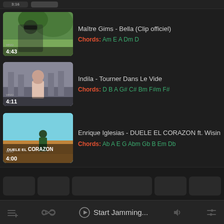[Figure (screenshot): Partial top bar of music app]
Maître Gims - Bella (Clip officiel)
Chords: Am E A Dm D
[Figure (photo): Thumbnail of Maître Gims Bella music video, 4:43]
Indila - Tourner Dans Le Vide
Chords: D B A G# C# Bm F#m F#
[Figure (photo): Thumbnail of Indila Tourner Dans Le Vide music video, 4:11]
Enrique Iglesias - DUELE EL CORAZON ft. Wisin
Chords: Ab A E G Abm Gb B Em Db
[Figure (photo): Thumbnail of Enrique Iglesias DUELE EL CORAZON music video, 4:00]
Start Jamming...